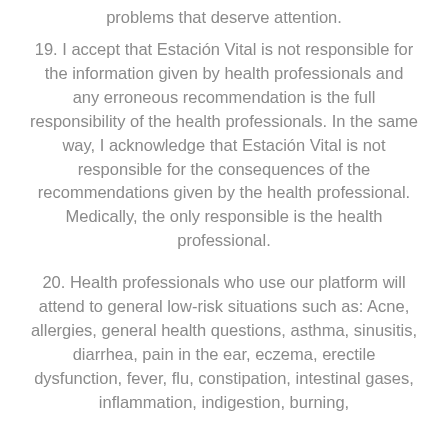problems that deserve attention.
19. I accept that Estación Vital is not responsible for the information given by health professionals and any erroneous recommendation is the full responsibility of the health professionals. In the same way, I acknowledge that Estación Vital is not responsible for the consequences of the recommendations given by the health professional. Medically, the only responsible is the health professional.
20. Health professionals who use our platform will attend to general low-risk situations such as: Acne, allergies, general health questions, asthma, sinusitis, diarrhea, pain in the ear, eczema, erectile dysfunction, fever, flu, constipation, intestinal gases, inflammation, indigestion, burning,